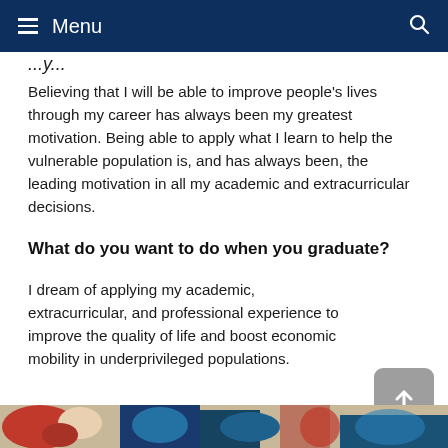Menu
...y...
Believing that I will be able to improve people's lives through my career has always been my greatest motivation. Being able to apply what I learn to help the vulnerable population is, and has always been, the leading motivation in all my academic and extracurricular decisions.
What do you want to do when you graduate?
I dream of applying my academic, extracurricular, and professional experience to improve the quality of life and boost economic mobility in underprivileged populations.
[Figure (photo): Partial colorful image at the bottom of the page, appears to be a decorative or illustrative photo.]